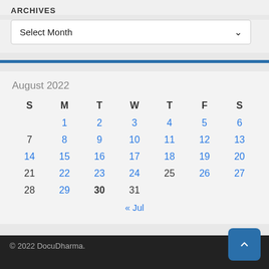ARCHIVES
Select Month
| S | M | T | W | T | F | S |
| --- | --- | --- | --- | --- | --- | --- |
|  | 1 | 2 | 3 | 4 | 5 | 6 |
| 7 | 8 | 9 | 10 | 11 | 12 | 13 |
| 14 | 15 | 16 | 17 | 18 | 19 | 20 |
| 21 | 22 | 23 | 24 | 25 | 26 | 27 |
| 28 | 29 | 30 | 31 |  |  |  |
| « Jul |  |  |  |  |  |  |
© 2022 DocuDharma.